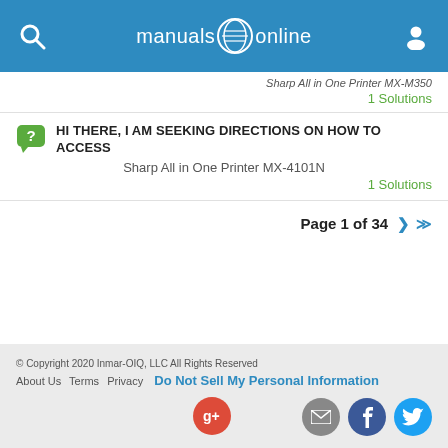manuals online
Sharp All in One Printer MX-M350
1 Solutions
HI THERE, I AM SEEKING DIRECTIONS ON HOW TO ACCESS
Sharp All in One Printer MX-4101N
1 Solutions
Page 1 of 34
© Copyright 2020 Inmar-OIQ, LLC All Rights Reserved
About Us  Terms  Privacy  Do Not Sell My Personal Information